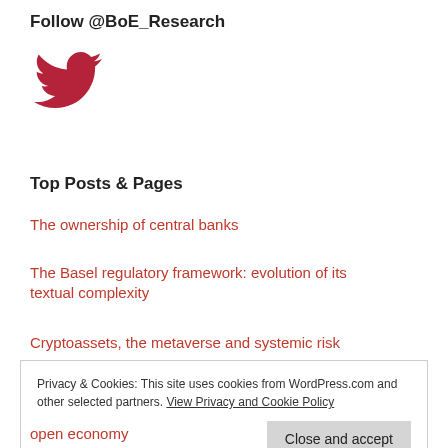Follow @BoE_Research
[Figure (logo): Twitter bird logo in red/crimson color]
Top Posts & Pages
The ownership of central banks
The Basel regulatory framework: evolution of its textual complexity
Cryptoassets, the metaverse and systemic risk
Monetary policy transmission during QE times: role of expectations and premia channels
Privacy & Cookies: This site uses cookies from WordPress.com and other selected partners. View Privacy and Cookie Policy
Close and accept
open economy